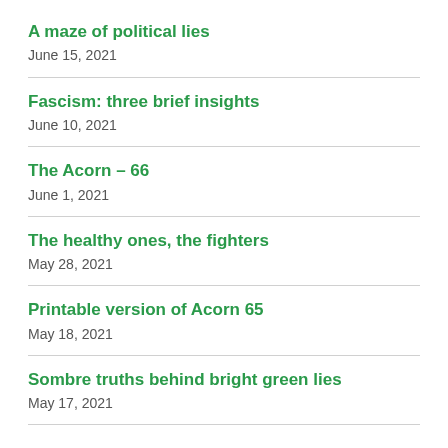A maze of political lies
June 15, 2021
Fascism: three brief insights
June 10, 2021
The Acorn – 66
June 1, 2021
The healthy ones, the fighters
May 28, 2021
Printable version of Acorn 65
May 18, 2021
Sombre truths behind bright green lies
May 17, 2021